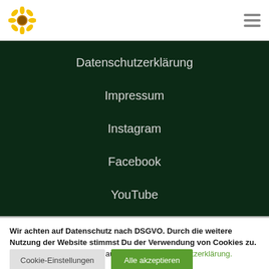Logo (sunflower) and hamburger menu icon
Datenschutzerklärung
Impressum
Instagram
Facebook
YouTube
Wir achten auf Datenschutz nach DSGVO. Durch die weitere Nutzung der Website stimmst Du der Verwendung von Cookies zu. Für mehr Informationen schau bitte in die Datenschutzerklärung.
Cookie-Einstellungen | Alle akzeptieren